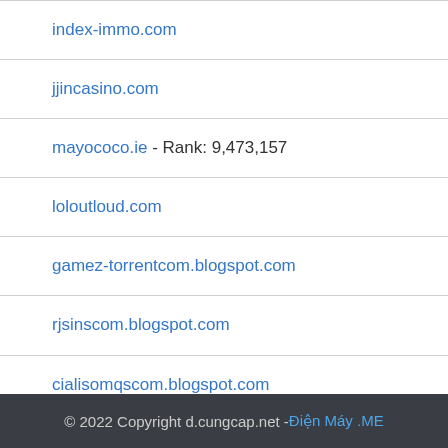| index-immo.com |
| jjincasino.com |
| mayococo.ie - Rank: 9,473,157 |
| loloutloud.com |
| gamez-torrentcom.blogspot.com |
| rjsinscom.blogspot.com |
| cialisomqscom.blogspot.com |
| index-id.com |
© 2022 Copyright d.cungcap.net - Điện Máy .ME